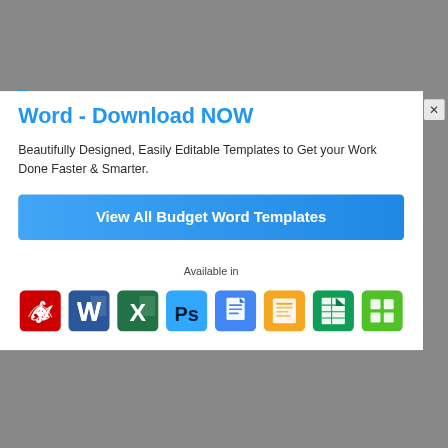Word - Download NOW
Beautifully Designed, Easily Editable Templates to Get your Work Done Faster & Smarter.
View All Budget Word Templates
Available in
[Figure (illustration): Row of app icons: Adobe Acrobat (red), Microsoft Word (blue), Microsoft Excel (green), Adobe Photoshop (blue), Google Docs (blue), Apple Pages (orange), Google Sheets (green), Apple Numbers (green)]